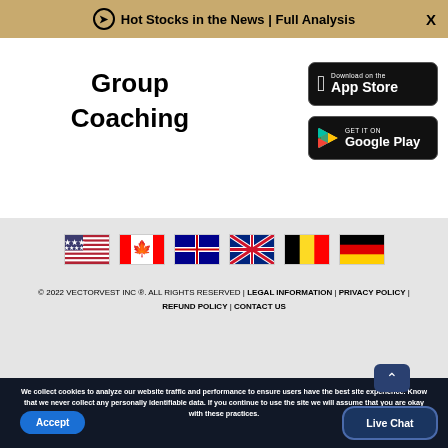Hot Stocks in the News | Full Analysis
Group
Coaching
[Figure (screenshot): Download on the App Store button (black rounded rectangle with Apple logo)]
[Figure (screenshot): Get it on Google Play button (black rounded rectangle with Google Play triangle logo)]
[Figure (infographic): Six country flags in a row: USA, Canada, Australia, UK, Belgium, Germany]
© 2022 VECTORVEST INC ®. ALL RIGHTS RESERVED | LEGAL INFORMATION | PRIVACY POLICY | REFUND POLICY | CONTACT US
We collect cookies to analyze our website traffic and performance to ensure users have the best site experience. Know that we never collect any personally identifiable data. If you continue to use the site we will assume that you are okay with these practices.
Accept
Live Chat